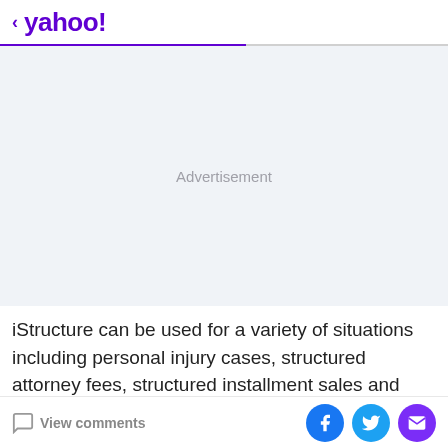< yahoo!
[Figure (other): Advertisement placeholder area with light gray background and 'Advertisement' label in center]
iStructure can be used for a variety of situations including personal injury cases, structured attorney fees, structured installment sales and taxable settlements.
View comments | Facebook | Twitter | Email